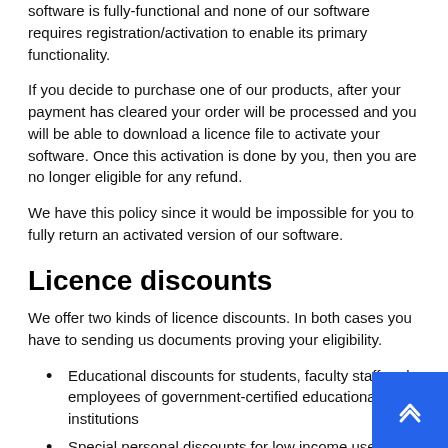software is fully-functional and none of our software requires registration/activation to enable its primary functionality.
If you decide to purchase one of our products, after your payment has cleared your order will be processed and you will be able to download a licence file to activate your software. Once this activation is done by you, then you are no longer eligible for any refund.
We have this policy since it would be impossible for you to fully return an activated version of our software.
Licence discounts
We offer two kinds of licence discounts. In both cases you have to sending us documents proving your eligibility.
Educational discounts for students, faculty staff and employees of government-certified educational institutions
Special personal discounts for low income users from